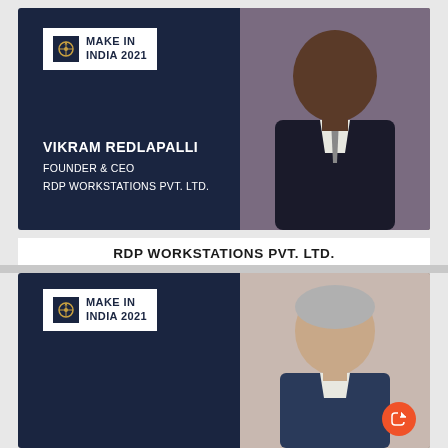[Figure (photo): Make In India 2021 speaker card with photo of Vikram Redlapalli, dark navy background with gold curved accent, white logo box with Make In India 2021 text]
VIKRAM REDLAPALLI
FOUNDER & CEO
RDP WORKSTATIONS PVT. LTD.
RDP WORKSTATIONS PVT. LTD.
[Figure (photo): Make In India 2021 speaker card with photo of elderly man with grey hair, dark navy background with gold curved accent, white logo box with Make In India 2021 text, share button in bottom right]